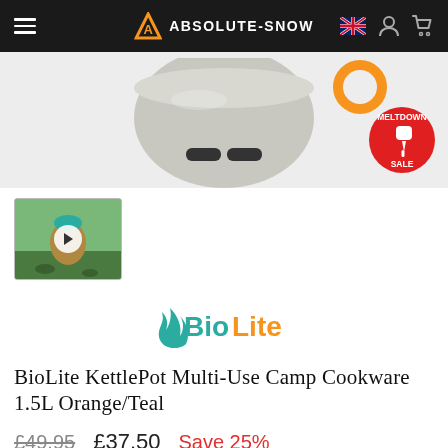ABSOLUTE-SNOW
[Figure (photo): Product photo of BioLite KettlePot camp cookware, metallic pot bottom visible against light background, with a circular orange handle visible top right. Red Meltdown Sale badge in bottom right corner.]
[Figure (photo): Thumbnail image of BioLite KettlePot with teal lid in outdoor setting, with a play button overlay indicating it is a video thumbnail.]
[Figure (logo): BioLite brand logo with orange flame icon and teal/orange 'BioLite' text.]
BioLite KettlePot Multi-Use Camp Cookware 1.5L Orange/Teal
£49.95  £37.50  Save 25%